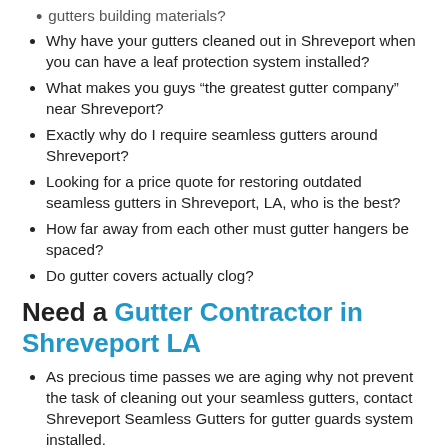gutters building materials?
Why have your gutters cleaned out in Shreveport when you can have a leaf protection system installed?
What makes you guys “the greatest gutter company” near Shreveport?
Exactly why do I require seamless gutters around Shreveport?
Looking for a price quote for restoring outdated seamless gutters in Shreveport, LA, who is the best?
How far away from each other must gutter hangers be spaced?
Do gutter covers actually clog?
Need a Gutter Contractor in Shreveport LA
As precious time passes we are aging why not prevent the task of cleaning out your seamless gutters, contact Shreveport Seamless Gutters for gutter guards system installed.
Shreveport Seamless Gutters understand a lot with respect to gutters, email for a price quote today.
If you are trying to find whom provides great customer care for selling and installing seamless gutters in and near Shreveport, you have come to the right place.